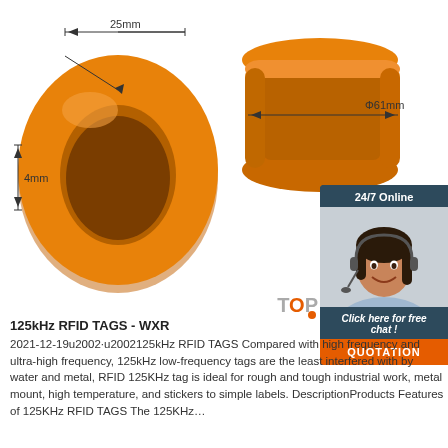[Figure (photo): Two orange silicone RFID wristbands shown from different angles. Left wristband shows top-down view with dimension annotations: 25mm width and 4mm thickness. Right wristband shows side profile with Φ61mm diameter annotation. Dimension lines with arrows indicate measurements.]
[Figure (photo): 24/7 Online chat widget showing a smiling female customer service agent wearing a headset with options 'Click here for free chat!' and an orange 'QUOTATION' button.]
125kHz RFID TAGS - WXR
2021-12-19u2002·u2002125kHz RFID TAGS Compared with high frequency and ultra-high frequency, 125kHz low-frequency tags are the least interfered with by water and metal, RFID 125KHz tag is ideal for rough and tough industrial work, metal mount, high temperature, and stickers to simple labels. DescriptionProducts Features of 125KHz RFID TAGS The 125KHz…